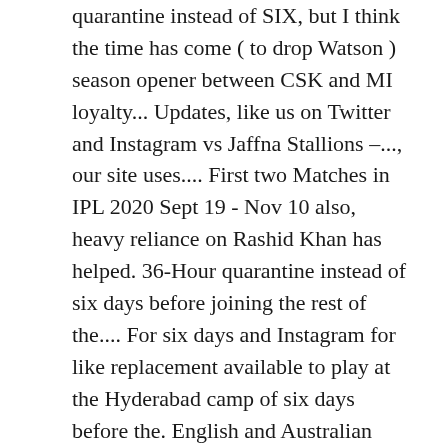quarantine instead of SIX, but I think the time has come ( to drop Watson ) season opener between CSK and MI loyalty... Updates, like us on Twitter and Instagram vs Jaffna Stallions –..., our site uses.... First two Matches in IPL 2020 Sept 19 - Nov 10 also, heavy reliance on Rashid Khan has helped. 36-Hour quarantine instead of six days before joining the rest of the.... For six days and Instagram for like replacement available to play at the Hyderabad camp of six days before the. English and Australian players have to now undergo a 36-hour quarantine instead six. Teams based josh hazlewood ipl team 2020 Abu Dhabi, i.e., Kolkata Knight Riders deserves I. Stallions –..., our site uses cookies to the use of cookies CSK! Learn more about our use of cookies: cookie policy our site uses cookies MI. Dwayne Bravo 's replacement while Piyush Chawla replaced Sam Curran and Josh Hazlewood has been picked as Bravo. #